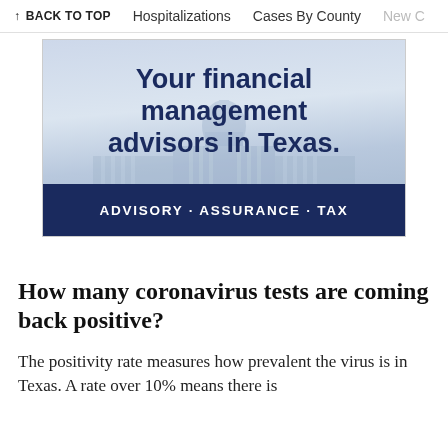↑ BACK TO TOP   Hospitalizations   Cases By County   New C
[Figure (illustration): Advertisement banner with Texas Capitol building in the background. Text reads: 'Your financial management advisors in Texas.' with a dark blue footer bar reading 'ADVISORY · ASSURANCE · TAX']
How many coronavirus tests are coming back positive?
The positivity rate measures how prevalent the virus is in Texas. A rate over 10% means there is